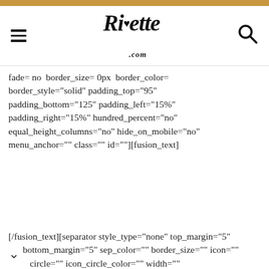Ricette.com
fade= no  border_size= 0px  border_color= border_style="solid" padding_top="95" padding_bottom="125" padding_left="15%" padding_right="15%" hundred_percent="no" equal_height_columns="no" hide_on_mobile="no" menu_anchor="" class="" id=""][fusion_text]
[/fusion_text][separator style_type="none" top_margin="5" bottom_margin="5" sep_color="" border_size="" icon="" circle="" icon_circle_color="" width=""